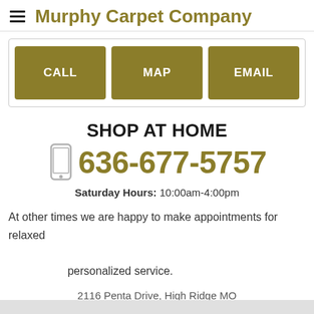Murphy Carpet Company
[Figure (infographic): Three gold buttons labeled CALL, MAP, EMAIL in a bordered box]
SHOP AT HOME
636-677-5757
Saturday Hours: 10:00am-4:00pm
At other times we are happy to make appointments for relaxed personalized service.
2116 Penta Drive, High Ridge MO